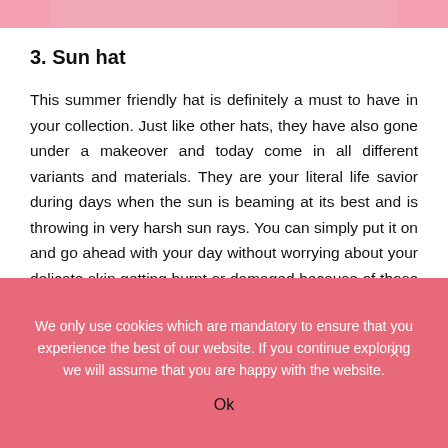[Figure (photo): Partial photo strip at the top of the page showing a person wearing a pink outfit or hat, cropped.]
3. Sun hat
This summer friendly hat is definitely a must to have in your collection. Just like other hats, they have also gone under a makeover and today come in all different variants and materials. They are your literal life savior during days when the sun is beaming at its best and is throwing in very harsh sun rays. You can simply put it on and go ahead with your day without worrying about your delicate skin getting burnt or damaged because of those harmful sun rays. These hats are an ideal choice for the beach. Carry it with your bikini, shades and a cover-up and you
We only use cookies which are mandatory to ensure that you experience the best of our website. If you continue exploring we will assume that you are happy with the website.
Ok